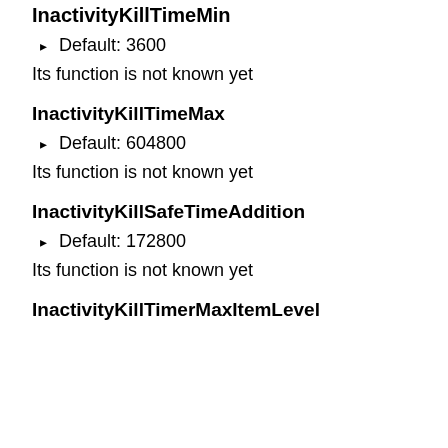InactivityKillTimeMin
Default: 3600
Its function is not known yet
InactivityKillTimeMax
Default: 604800
Its function is not known yet
InactivityKillSafeTimeAddition
Default: 172800
Its function is not known yet
InactivityKillTimerMaxItemLevel